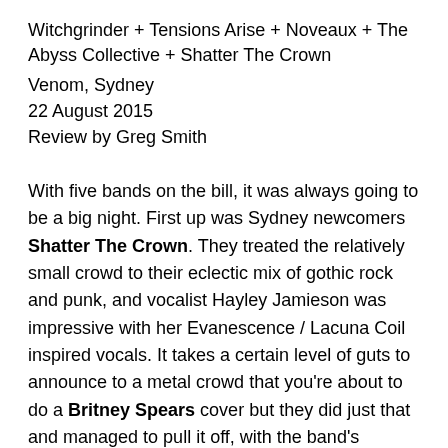Witchgrinder + Tensions Arise + Noveaux + The Abyss Collective + Shatter The Crown
Venom, Sydney
22 August 2015
Review by Greg Smith
With five bands on the bill, it was always going to be a big night. First up was Sydney newcomers Shatter The Crown. They treated the relatively small crowd to their eclectic mix of gothic rock and punk, and vocalist Hayley Jamieson was impressive with her Evanescence / Lacuna Coil inspired vocals. It takes a certain level of guts to announce to a metal crowd that you're about to do a Britney Spears cover but they did just that and managed to pull it off, with the band's rendition of Britney's Toxic being one of the highlights.